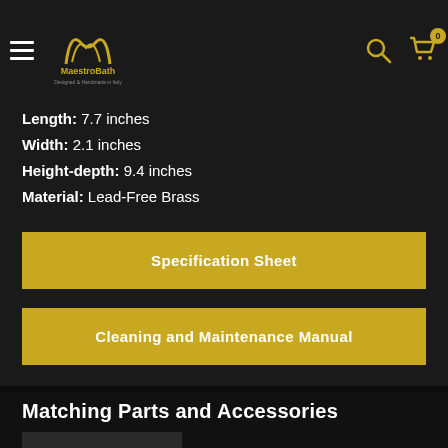MaestroBath navigation header with logo, hamburger menu, search icon, and cart
Length: 7.7 inches
Width: 2.1 inches
Height-depth: 9.4 inches
Material: Lead-Free Brass
Specification Sheet
Cleaning and Maintenance Manual
Matching Parts and Accessories
[Figure (photo): Product thumbnail placeholder]